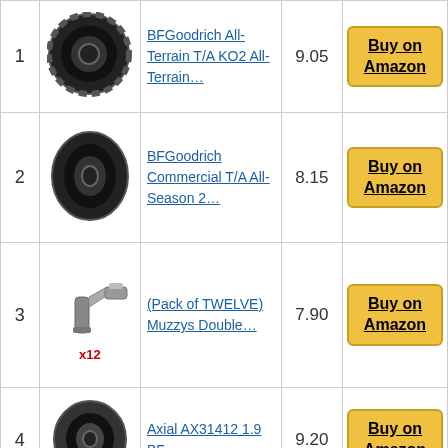| # | Image | Product | Score | Link |
| --- | --- | --- | --- | --- |
| 1 | [tire image] | BFGoodrich All-Terrain T/A KO2 All-Terrain… | 9.05 | Buy on Amazon |
| 2 | [tire image] | BFGoodrich Commercial T/A All-Season 2… | 8.15 | Buy on Amazon |
| 3 | [valve image x12] | (Pack of TWELVE) Muzzys Double… | 7.90 | Buy on Amazon |
| 4 | [tire image] | Axial AX31412 1.9 BF… | 9.20 | Buy on Amazon |